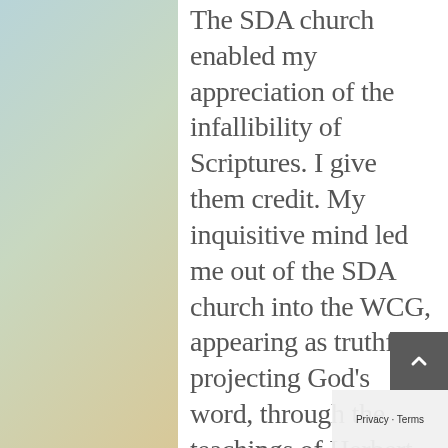The SDA church enabled my appreciation of the infallibility of Scriptures. I give them credit. My inquisitive mind led me out of the SDA church into the WCG, appearing as truthfully projecting God's word, through the teachings of Herbert W. Armstrong. I also give HWA credit, even though viciously vilified for preaching heresy.
After the death of Herbert...